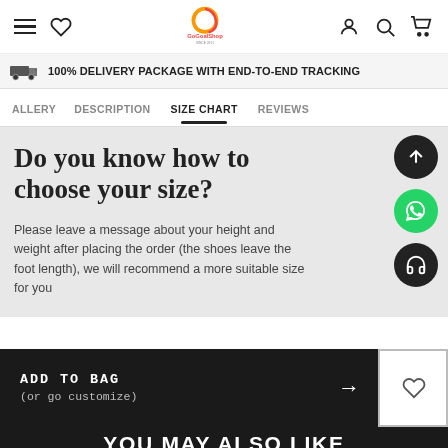[Figure (screenshot): GoGoalShop website header with hamburger menu, heart icon, logo, user, search, and cart icons]
100% DELIVERY PACKAGE WITH END-TO-END TRACKING
ALLERY   DESCRIPTION   SIZE CHART   REVIEWS
Do you know how to choose your size?
Please leave a message about your height and weight after placing the order (the shoes leave the foot length), we will recommend a more suitable size for you
ADD TO BAG
(or go customize)
YOU MAY ALSO LIKE